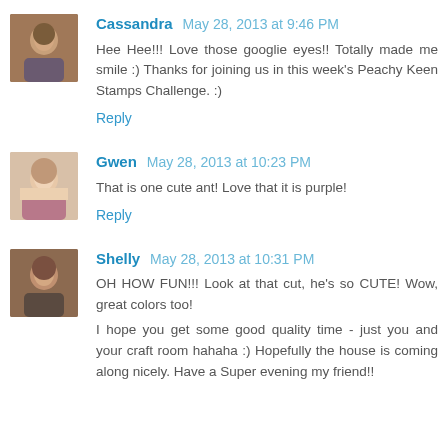[Figure (photo): Avatar photo of Cassandra]
Cassandra May 28, 2013 at 9:46 PM
Hee Hee!!! Love those googlie eyes!! Totally made me smile :) Thanks for joining us in this week's Peachy Keen Stamps Challenge. :)
Reply
[Figure (photo): Avatar photo of Gwen]
Gwen May 28, 2013 at 10:23 PM
That is one cute ant! Love that it is purple!
Reply
[Figure (photo): Avatar photo of Shelly]
Shelly May 28, 2013 at 10:31 PM
OH HOW FUN!!! Look at that cut, he's so CUTE! Wow, great colors too!
I hope you get some good quality time - just you and your craft room hahaha :) Hopefully the house is coming along nicely. Have a Super evening my friend!!